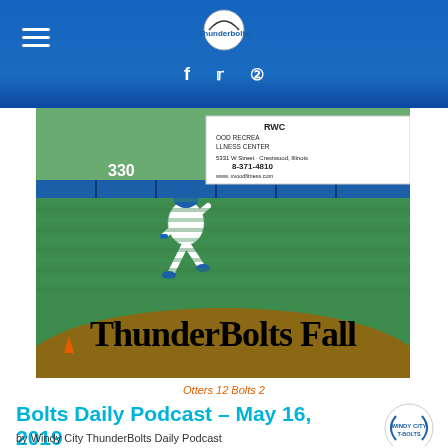ThunderBolts website header with logo, hamburger menu, and social icons (Facebook, Twitter, Instagram)
[Figure (photo): Baseball player in white and blue Windy City ThunderBolts uniform running on the field. Behind him is a fence with a sponsor sign reading 'RWC OOD RECREATION LLNESS CENTER 5331 W Street Crestwood, Illinois 8-371-4810 www.vvoodfitness.com'. There is also a '330' distance marker on the outfield fence. Overlaid text reads 'ThunderBolts Fall'.]
Otters 12 Bolts 2
Bolts Daily Podcast – May 16, 2019
by Windy City ThunderBolts Daily Podcast